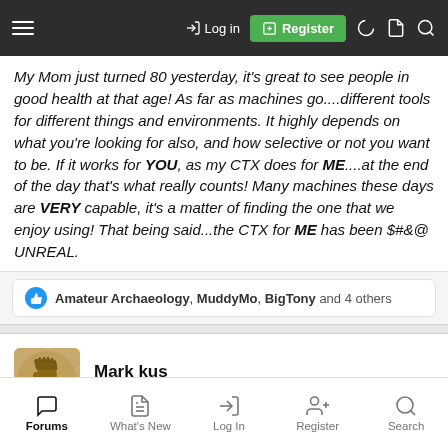Log in | Register
My Mom just turned 80 yesterday, it's great to see people in good health at that age! As far as machines go....different tools for different things and environments. It highly depends on what you're looking for also, and how selective or not you want to be. If it works for YOU, as my CTX does for ME....at the end of the day that's what really counts! Many machines these days are VERY capable, it's a matter of finding the one that we enjoy using! That being said...the CTX for ME has been $#&@ UNREAL.
Amateur Archaeology, MuddyMo, BigTony and 4 others
Mark kus
Well-known member
Forums | What's New | Log In | Register | Search